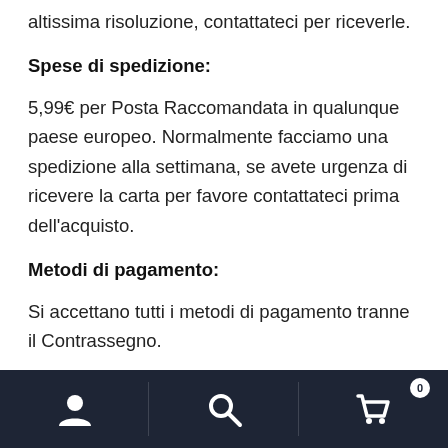altissima risoluzione, contattateci per riceverle.
Spese di spedizione:
5,99€ per Posta Raccomandata in qualunque paese europeo. Normalmente facciamo una spedizione alla settimana, se avete urgenza di ricevere la carta per favore contattateci prima dell'acquisto.
Metodi di pagamento:
Si accettano tutti i metodi di pagamento tranne il Contrassegno.
Navigation bar with user, search, and cart (0) icons